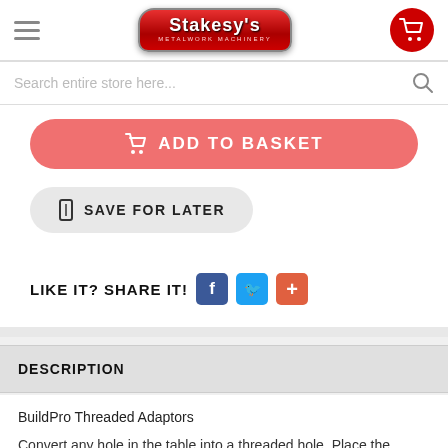Stakesy's Metalwork Machinery
Search entire store here...
ADD TO BASKET
SAVE FOR LATER
LIKE IT? SHARE IT!
DESCRIPTION
BuildPro Threaded Adaptors
Convert any hole in the table into a threaded hole. Place the Adapter